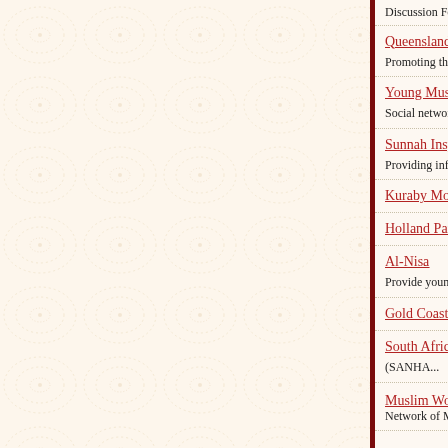Discussion Forum & Social Network for CCN Readers
Queensland Muslim Historical Society Inc.
Promoting the study and awareness of the rich history of the Muslim...
Young Muslims of Queensland
Social network for young Muslims of Brisbane
Sunnah Inspirations
Providing information about Islam - its beliefs, culture, practices, d...
Kuraby Mosque
Holland Park Mosque
Al-Nisa
Provide young Muslim women in Queensland with support and opp...
Gold Coast Mosque
South African National Halaal Authority (SANHA...
Muslim Womens' Convert Support Group (MWCS...
Network of Muslim women converts from the Brisbane and Gold C...
If you would...